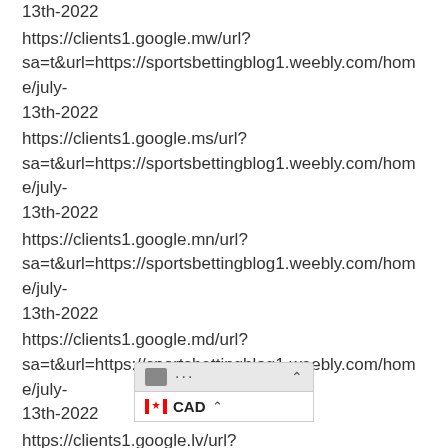13th-2022
https://clients1.google.mw/url?sa=t&url=https://sportsbettingblog1.weebly.com/home/july-13th-2022
https://clients1.google.ms/url?sa=t&url=https://sportsbettingblog1.weebly.com/home/july-13th-2022
https://clients1.google.mn/url?sa=t&url=https://sportsbettingblog1.weebly.com/home/july-13th-2022
https://clients1.google.md/url?sa=t&url=https://sportsbettingblog1.weebly.com/home/july-13th-2022
https://clients1.google.lv/url?sa=t&url=https://sportsbettingblog1.weebly.com/home/july-13th-2022
https://clients1.google.lu